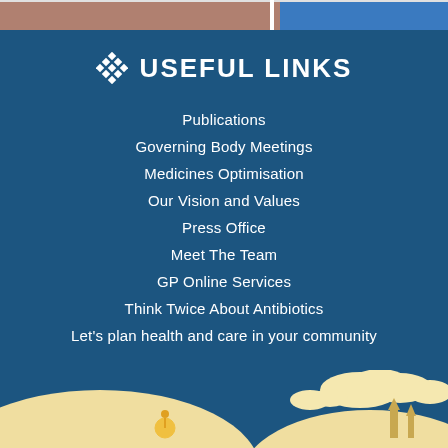[Figure (photo): Top strip showing partial photo of people at the top of the page]
USEFUL LINKS
Publications
Governing Body Meetings
Medicines Optimisation
Our Vision and Values
Press Office
Meet The Team
GP Online Services
Think Twice About Antibiotics
Let's plan health and care in your community
[Figure (illustration): Bottom decorative illustration with cream/yellow hills, clouds, and stylized castle/buildings silhouette on dark blue background]